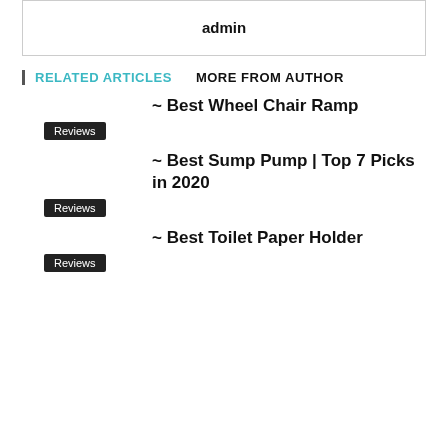admin
RELATED ARTICLES   MORE FROM AUTHOR
~ Best Wheel Chair Ramp
Reviews
~ Best Sump Pump | Top 7 Picks in 2020
Reviews
~ Best Toilet Paper Holder
Reviews